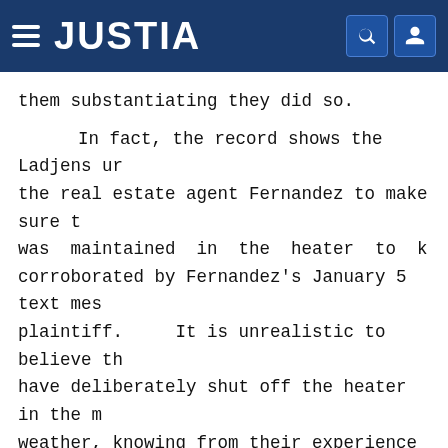JUSTIA
them substantiating they did so.

        In fact, the record shows the Ladjens ur the real estate agent Fernandez to make sure t was maintained in the heater to k corroborated by Fernandez's January 5 text mes plaintiff.     It is unrealistic to believe th have deliberately shut off the heater in the m weather, knowing from their experience as owne